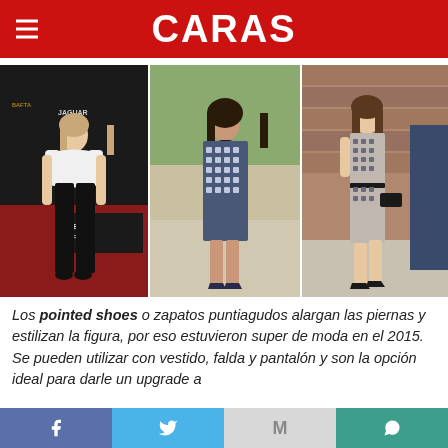CARAS
[Figure (photo): Three celebrity photos side by side showing women wearing pointed shoes: Emma Watson at a BBC America event in white off-shoulder top and black pants; Charlotte Casiraghi in a patterned sleeveless dress; Kate Middleton in a patterned belted dress walking with a man in a suit.]
Los pointed shoes o zapatos puntiagudos alargan las piernas y estilizan la figura, por eso estuvieron super de moda en el 2015. Se pueden utilizar con vestido, falda y pantalón y son la opción ideal para darle un upgrade a
Facebook  Twitter  Gmail  WhatsApp